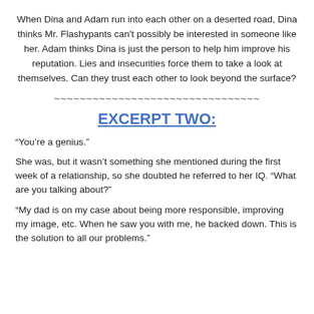When Dina and Adam run into each other on a deserted road, Dina thinks Mr. Flashypants can't possibly be interested in someone like her. Adam thinks Dina is just the person to help him improve his reputation. Lies and insecurities force them to take a look at themselves. Can they trust each other to look beyond the surface?
~~~~~~~~~~~~~~~~~~~~~~~~~~~~~~~~
EXCERPT TWO:
“You’re a genius.”
She was, but it wasn’t something she mentioned during the first week of a relationship, so she doubted he referred to her IQ. “What are you talking about?”
“My dad is on my case about being more responsible, improving my image, etc. When he saw you with me, he backed down. This is the solution to all our problems.”